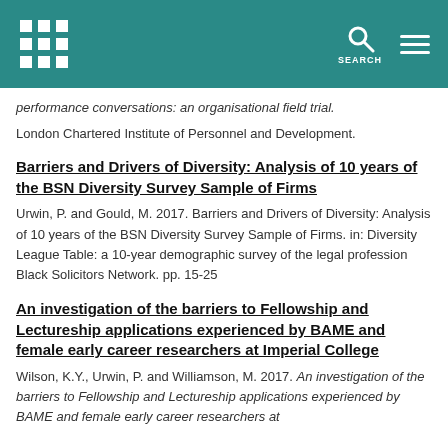Westminster logo and navigation header with SEARCH
performance conversations: an organisational field trial.
London Chartered Institute of Personnel and Development.
Barriers and Drivers of Diversity: Analysis of 10 years of the BSN Diversity Survey Sample of Firms
Urwin, P. and Gould, M. 2017. Barriers and Drivers of Diversity: Analysis of 10 years of the BSN Diversity Survey Sample of Firms. in: Diversity League Table: a 10-year demographic survey of the legal profession Black Solicitors Network. pp. 15-25
An investigation of the barriers to Fellowship and Lectureship applications experienced by BAME and female early career researchers at Imperial College
Wilson, K.Y., Urwin, P. and Williamson, M. 2017. An investigation of the barriers to Fellowship and Lectureship applications experienced by BAME and female early career researchers at